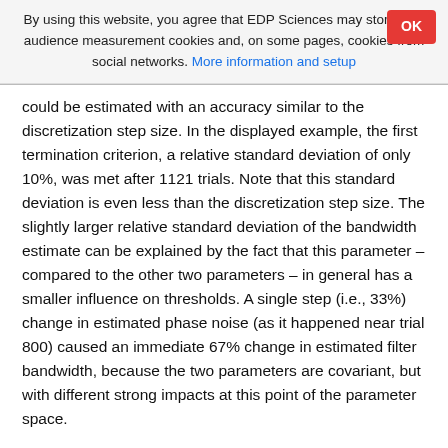By using this website, you agree that EDP Sciences may store web audience measurement cookies and, on some pages, cookies from social networks. More information and setup
could be estimated with an accuracy similar to the discretization step size. In the displayed example, the first termination criterion, a relative standard deviation of only 10%, was met after 1121 trials. Note that this standard deviation is even less than the discretization step size. The slightly larger relative standard deviation of the bandwidth estimate can be explained by the fact that this parameter – compared to the other two parameters – in general has a smaller influence on thresholds. A single step (i.e., 33%) change in estimated phase noise (as it happened near trial 800) caused an immediate 67% change in estimated filter bandwidth, because the two parameters are covariant, but with different strong impacts at this point of the parameter space.